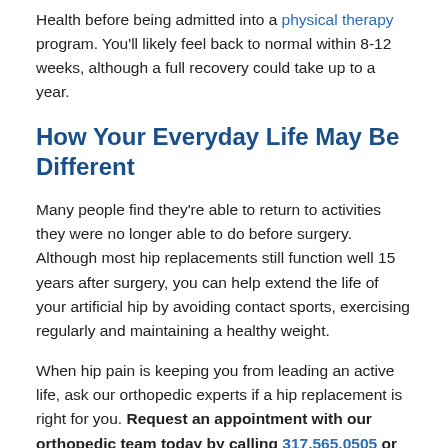Health before being admitted into a physical therapy program. You'll likely feel back to normal within 8-12 weeks, although a full recovery could take up to a year.
How Your Everyday Life May Be Different
Many people find they're able to return to activities they were no longer able to do before surgery. Although most hip replacements still function well 15 years after surgery, you can help extend the life of your artificial hip by avoiding contact sports, exercising regularly and maintaining a healthy weight.
When hip pain is keeping you from leading an active life, ask our orthopedic experts if a hip replacement is right for you. Request an appointment with our orthopedic team today by calling 317.565.0505 or by completing an appointment request form.
Riverview Health offers hip replacements for people living